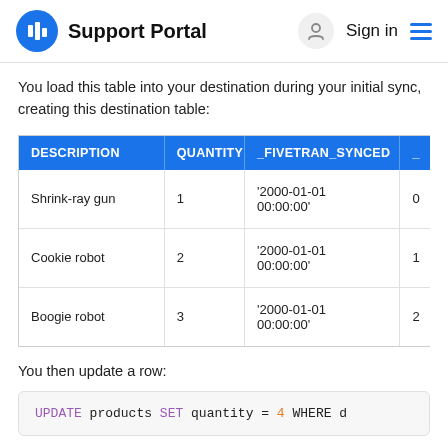Support Portal  Sign in
You load this table into your destination during your initial sync, creating this destination table:
| DESCRIPTION | QUANTITY | _FIVETRAN_SYNCED | _ |
| --- | --- | --- | --- |
| Shrink-ray gun | 1 | '2000-01-01 00:00:00' | 0 |
| Cookie robot | 2 | '2000-01-01 00:00:00' | 1 |
| Boogie robot | 3 | '2000-01-01 00:00:00' | 2 |
You then update a row:
UPDATE products SET quantity = 4 WHERE d